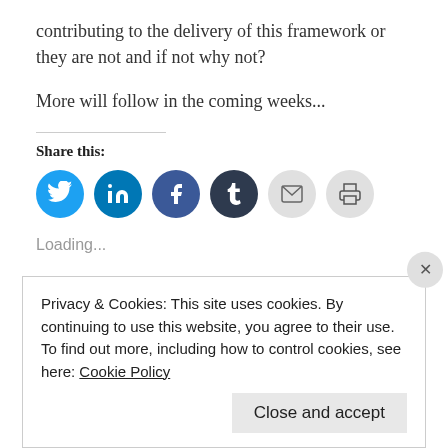contributing to the delivery of this framework or they are not and if not why not?
More will follow in the coming weeks...
Share this:
[Figure (other): Social share buttons: Twitter, LinkedIn, Facebook, Tumblr, Email, Print]
Loading...
Privacy & Cookies: This site uses cookies. By continuing to use this website, you agree to their use.
To find out more, including how to control cookies, see here: Cookie Policy